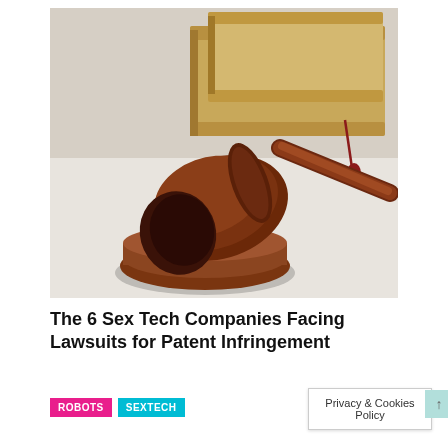[Figure (photo): A wooden judge's gavel resting on a round wooden sound block, with law books stacked in the background on a white surface. A red tassel bookmark is visible from one of the books.]
The 6 Sex Tech Companies Facing Lawsuits for Patent Infringement
ROBOTS
SEXTECH
Privacy & Cookies Policy